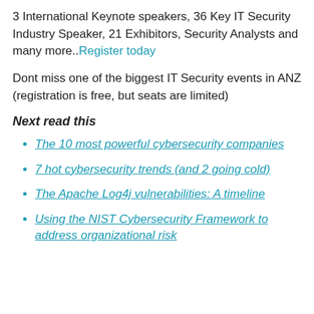3 International Keynote speakers, 36 Key IT Security Industry Speaker, 21 Exhibitors, Security Analysts and many more..Register today
Dont miss one of the biggest IT Security events in ANZ (registration is free, but seats are limited)
Next read this
The 10 most powerful cybersecurity companies
7 hot cybersecurity trends (and 2 going cold)
The Apache Log4j vulnerabilities: A timeline
Using the NIST Cybersecurity Framework to address organizational risk